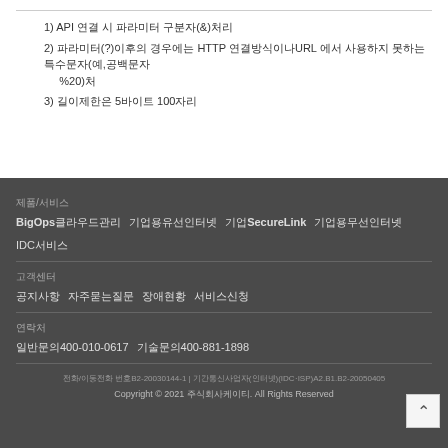1) API 연결 시 파라미터 구분자(&)처리
2) 파라미터(?)이후의 경우에는 HTTP 연결방식이나URL 에서 사용하지 못하는 특수문자(예,공백문자 %20)처
3) 길이제한은 5바이트 100자리
제품/서비스
BigOps클라우드관리 기업용유선인터넷 기업SecureLink 기업용무선인터넷 IDC서비스
고객센터
공지사항 자주묻는질문 장애현황 서비스신청
연락처
일반문의400-010-0617 기술문의400-881-1898
전화/이동전화 번호B2-20030144-1 | 기간통신사업자(인터넷)(IDC⋅ISP)A2.B1.B2-20050405
Copyright © 2021 주식회사케이티. All Rights Reserved